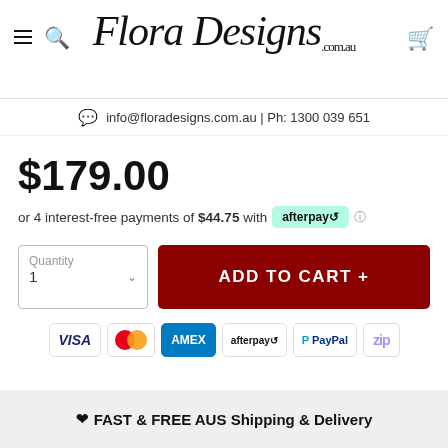Flora Designs .com.au
info@floradesigns.com.au | Ph: 1300 039 651
$179.00
or 4 interest-free payments of $44.75 with afterpay
ADD TO CART +
[Figure (logo): Payment icons: VISA, Mastercard, AMEX, Afterpay, PayPal, Zip]
♥ FAST & FREE AUS Shipping & Delivery